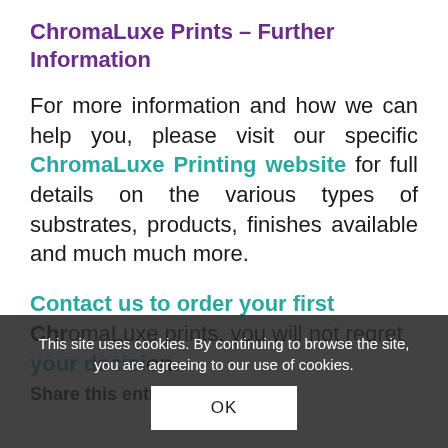ChromaLuxe Prints – Further Information
For more information and how we can help you, please visit our specific ChromaLuxe Printing website for full details on the various types of substrates, products, finishes available and much much more.
Contact us to order your first ChromaLuxe prints, you will not regret your decision.
Share this entry
This site uses cookies. By continuing to browse the site, you are agreeing to our use of cookies.